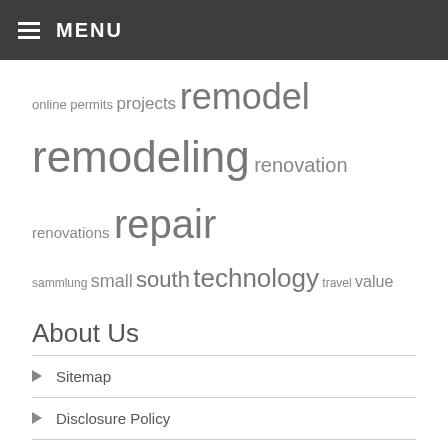MENU
online permits projects remodel remodeling renovation renovations repair sammlung small south technology travel value
About Us
Sitemap
Disclosure Policy
Advertise Here
Contact Us